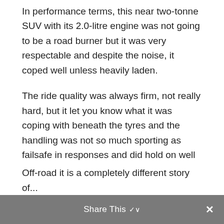In performance terms, this near two-tonne SUV with its 2.0-litre engine was not going to be a road burner but it was very respectable and despite the noise, it coped well unless heavily laden.
The ride quality was always firm, not really hard, but it let you know what it was coping with beneath the tyres and the handling was not so much sporting as failsafe in responses and did hold on well through bends and over poorly surfaced corners when some body roll was evident but not really an issue.
Share This ∨  ✕
Off-road it is a completely different story of...